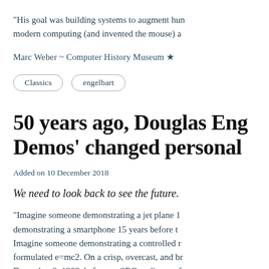“His goal was building systems to augment hun modern computing (and invented the mouse) a
Marc Weber ~ Computer History Museum ★
Classics
engelbart
50 years ago, Douglas Eng Demos’ changed personal
Added on 10 December 2018
We need to look back to see the future.
“Imagine someone demonstrating a jet plane 1 demonstrating a smartphone 15 years before t Imagine someone demonstrating a controlled r formulated e=mc2. On a crisp, overcast, and br December 9, 1968, before an SRO audience of